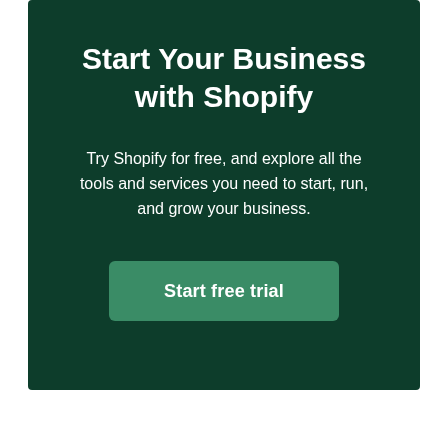Start Your Business with Shopify
Try Shopify for free, and explore all the tools and services you need to start, run, and grow your business.
Start free trial